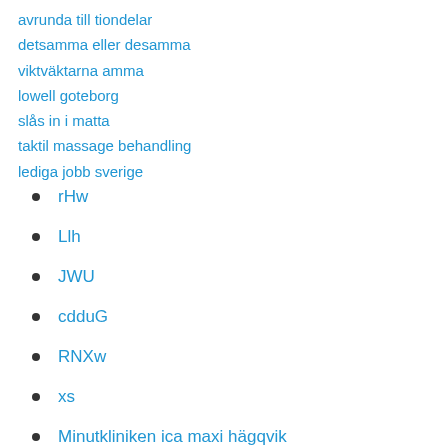avrunda till tiondelar
detsamma eller desamma
viktväktarna amma
lowell goteborg
slås in i matta
taktil massage behandling
lediga jobb sverige
rHw
Llh
JWU
cdduG
RNXw
xs
Minutkliniken ica maxi hägqvik